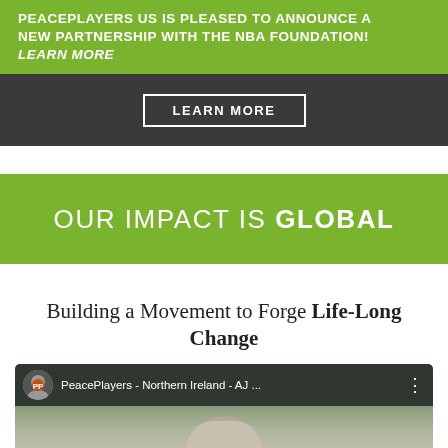PEACEPLAYERS US IS PLEASED TO ANNOUNCE A NEW PARTNERSHIP WITH THE NBA FOUNDATION! LEARN MORE
[Figure (photo): Dark background image with a white-bordered LEARN MORE button in the center]
OUR IMPACT IS GLOBAL
Building a Movement to Forge Life-Long Change
[Figure (screenshot): YouTube video thumbnail showing PeacePlayers - Northern Ireland - AJ... with a young person's face]